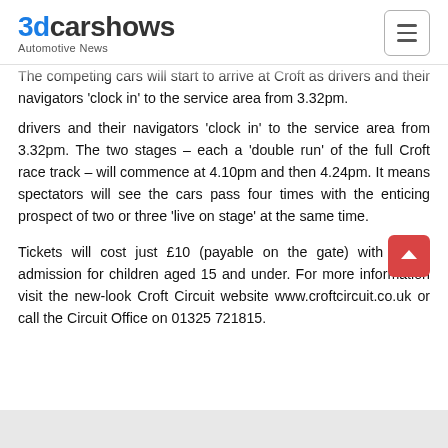3dcarshows Automotive News
The competing cars will start to arrive at Croft as drivers and their navigators 'clock in' to the service area from 3.32pm. The two stages – each a 'double run' of the full Croft race track – will commence at 4.10pm and then 4.24pm. It means spectators will see the cars pass four times with the enticing prospect of two or three 'live on stage' at the same time.
Tickets will cost just £10 (payable on the gate) with FREE admission for children aged 15 and under. For more information visit the new-look Croft Circuit website www.croftcircuit.co.uk or call the Circuit Office on 01325 721815.